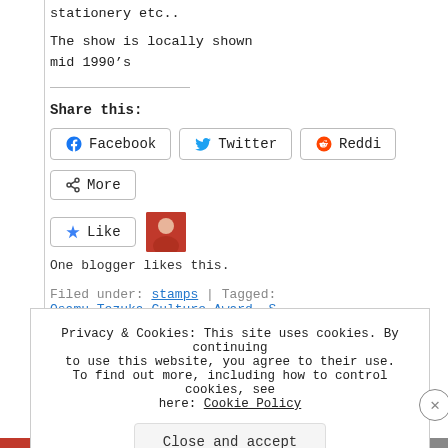stationery etc..
The show is locally shown mid 1990’s
Share this:
[Figure (screenshot): Share buttons: Facebook, Twitter, Reddit, More]
[Figure (screenshot): Like button with avatar. One blogger likes this.]
One blogger likes this.
Filed under: stamps | Tagged: Osamu Tezuka Culture Award, S
Privacy & Cookies: This site uses cookies. By continuing to use this website, you agree to their use. To find out more, including how to control cookies, see here: Cookie Policy
Close and accept